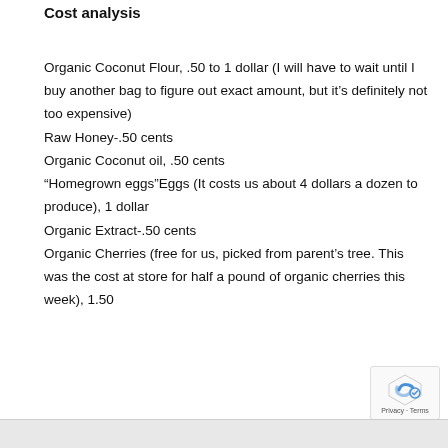Cost analysis
Organic Coconut Flour, .50 to 1 dollar (I will have to wait until I buy another bag to figure out exact amount, but it's definitely not too expensive)
Raw Honey-.50 cents
Organic Coconut oil, .50 cents
"Homegrown eggs"Eggs (It costs us about 4 dollars a dozen to produce), 1 dollar
Organic Extract-.50 cents
Organic Cherries (free for us, picked from parent's tree. This was the cost at store for half a pound of organic cherries this week), 1.50